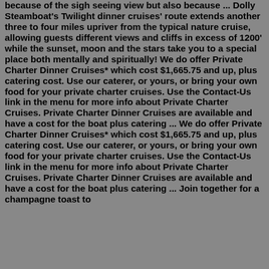because of the sigh seeing view but also because ... Dolly Steamboat's Twilight dinner cruises' route extends another three to four miles upriver from the typical nature cruise, allowing guests different views and cliffs in excess of 1200' while the sunset, moon and the stars take you to a special place both mentally and spiritually! We do offer Private Charter Dinner Cruises* which cost $1,665.75 and up, plus catering cost. Use our caterer, or yours, or bring your own food for your private charter cruises. Use the Contact-Us link in the menu for more info about Private Charter Cruises. Private Charter Dinner Cruises are available and have a cost for the boat plus catering ... We do offer Private Charter Dinner Cruises* which cost $1,665.75 and up, plus catering cost. Use our caterer, or yours, or bring your own food for your private charter cruises. Use the Contact-Us link in the menu for more info about Private Charter Cruises. Private Charter Dinner Cruises are available and have a cost for the boat plus catering ... Join together for a champagne toast to